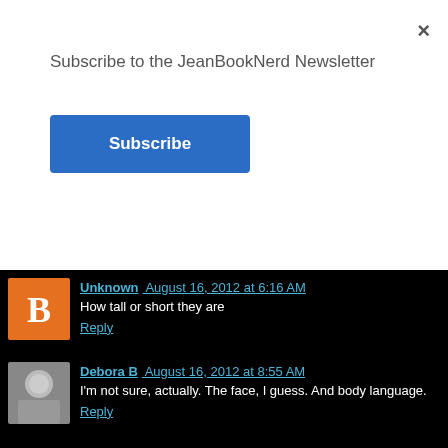Subscribe to the JeanBookNerd Newsletter
Subscribe
Unknown  August 16, 2012 at 6:16 AM
How tall or short they are
Reply
Debora B  August 16, 2012 at 8:55 AM
I'm not sure, actually. The face, I guess. And body language.
Reply
Gigi  August 16, 2012 at 8:21 PM
Thank you so much for the interview Jean! I'm so going to steal  your curiosity and serve yourself a unique blend of books that n variety. The more different types of voices you read, the more y that it's okay to be who you are.' I totally LOVEEEEEE IT! Can  thing I notice about people? mmm I think the attitude and body la
Reply